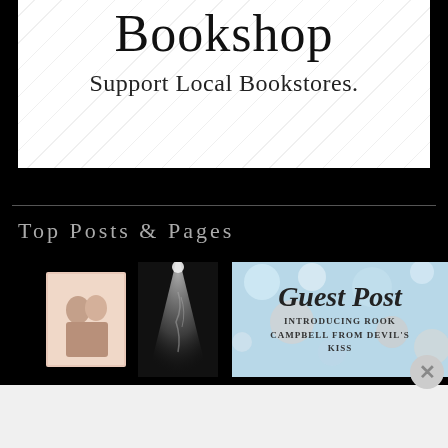[Figure (logo): Bookshop logo with text 'Bookshop' in serif and 'Support Local Bookstores.' tagline on white background with diagonal line pattern]
Top Posts & Pages
[Figure (photo): Book cover showing two figures embracing, with spotlight/smoke effect on dark background, labeled #RWYW]
[Figure (photo): Guest Post image with bokeh background, text 'Guest Post' in script and 'Introducing Rook Campbell from Devil's Kiss']
Advertisements
[Figure (infographic): WordPress VIP advertisement banner with Learn more button and social media imagery]